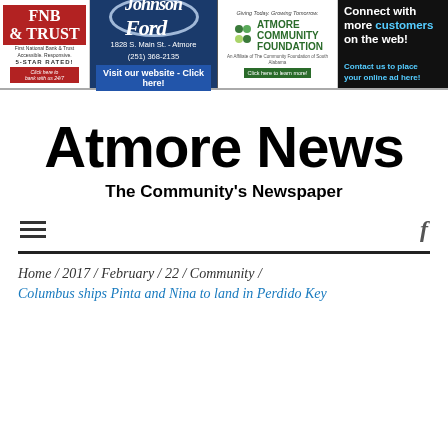[Figure (other): Ad banner row with four advertisements: FNB & Trust bank ad, Johnson Ford dealership ad, Atmore Community Foundation ad, and a Connect with customers web ad]
Atmore News
The Community's Newspaper
Home / 2017 / February / 22 / Community / Columbus ships Pinta and Nina to land in Perdido Key